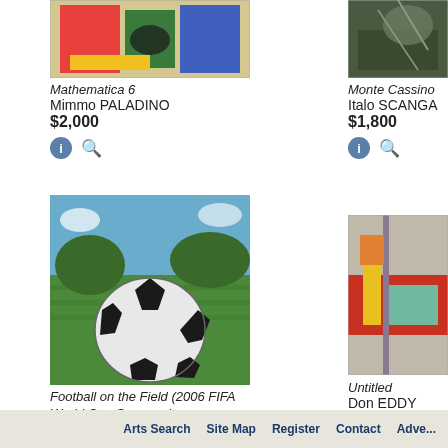[Figure (photo): Partial view of colorful artwork - Mathematica 6 by Mimmo Paladino]
Mathematica 6
Mimmo PALADINO
$2,000
[Figure (photo): Partial view of Monte Cassino artwork by Italo Scanga]
Monte Cassino
Italo SCANGA
$1,800
[Figure (photo): Football on the Field painting - soccer ball on green field, colorful painted style]
Football on the Field (2006 FIFA World Cup Germany)
Markus LÜPERTZ
$1,816
[Figure (photo): Partial view of Untitled artwork by Don Eddy showing person in yellow pants]
Untitled
Don EDDY
$1,800
Arts Search   Site Map   Register   Contact   Adve...